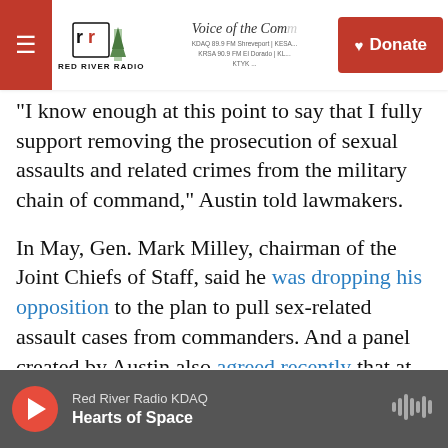Red River Radio | Voice of the Community | KDAQ | Donate
"I know enough at this point to say that I fully support removing the prosecution of sexual assaults and related crimes from the military chain of command," Austin told lawmakers.
In May, Gen. Mark Milley, chairman of the Joint Chiefs of Staff, said he was dropping his opposition to the plan to pull sex-related assault cases from commanders. And a panel created by Austin also agreed recently that at least sexual assault cases should be pulled from the chain of command.
The panel issued its final recommendations Monday, but Gillibrand and others said it still falls
Red River Radio KDAQ | Hearts of Space